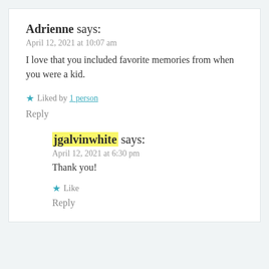Adrienne says:
April 12, 2021 at 10:07 am
I love that you included favorite memories from when you were a kid.
★ Liked by 1 person
Reply
jgalvinwhite says:
April 12, 2021 at 6:30 pm
Thank you!
★ Like
Reply